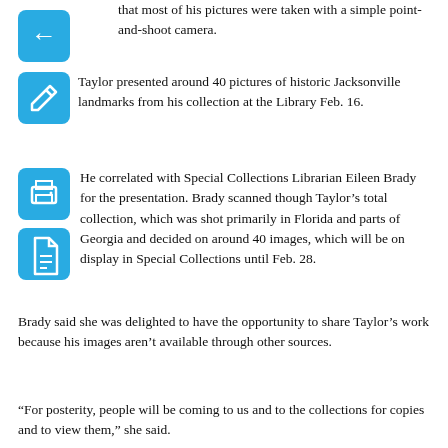that most of his pictures were taken with a simple point-and-shoot camera.
[Figure (other): Blue square icon with left-arrow (back navigation button)]
Taylor presented around 40 pictures of historic Jacksonville landmarks from his collection at the Library Feb. 16.
[Figure (other): Blue square icon with edit/pencil symbol]
[Figure (other): Blue square icon with print/printer symbol]
[Figure (other): Blue square icon with PDF/document symbol]
He correlated with Special Collections Librarian Eileen Brady for the presentation. Brady scanned though Taylor’s total collection, which was shot primarily in Florida and parts of Georgia and decided on around 40 images, which will be on display in Special Collections until Feb. 28.
Brady said she was delighted to have the opportunity to share Taylor’s work because his images aren’t available through other sources.
“For posterity, people will be coming to us and to the collections for copies and to view them,” she said.